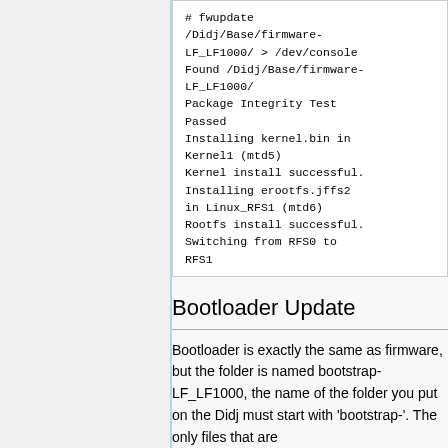[Figure (screenshot): Code block showing fwupdate command output: # fwupdate /Didj/Base/firmware-LF_LF1000/ > /dev/console Found /Didj/Base/firmware-LF_LF1000/ Package Integrity Test Passed Installing kernel.bin in Kernel1 (mtd5) Kernel install successful. Installing erootfs.jffs2 in Linux_RFS1 (mtd6) Rootfs install successful. Switching from RFS0 to RFS1]
Bootloader Update
Bootloader is exactly the same as firmware, but the folder is named bootstrap-LF_LF1000, the name of the folder you put on the Didj must start with 'bootstrap-'. The only files that are